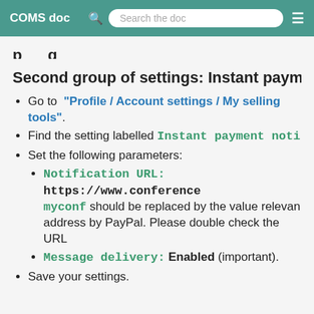COMS doc   Search the doc
Second group of settings: Instant payment
Go to "Profile / Account settings / My selling tools".
Find the setting labelled Instant payment noti
Set the following parameters:
Notification URL: https://www.conference...  myconf should be replaced by the value relevant address by PayPal. Please double check the URL
Message delivery: Enabled (important).
Save your settings.